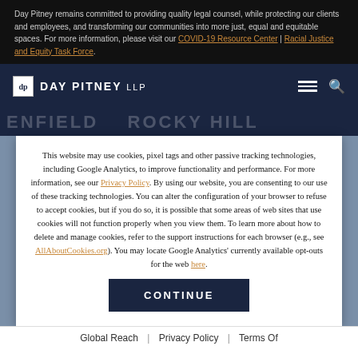Day Pitney remains committed to providing quality legal counsel, while protecting our clients and employees, and transforming our communities into more just, equal and equitable spaces. For more information, please visit our COVID-19 Resource Center | Racial Justice and Equity Task Force.
DAY PITNEY LLP
This website may use cookies, pixel tags and other passive tracking technologies, including Google Analytics, to improve functionality and performance. For more information, see our Privacy Policy. By using our website, you are consenting to our use of these tracking technologies. You can alter the configuration of your browser to refuse to accept cookies, but if you do so, it is possible that some areas of web sites that use cookies will not function properly when you view them. To learn more about how to delete and manage cookies, refer to the support instructions for each browser (e.g., see AllAboutCookies.org). You may locate Google Analytics' currently available opt-outs for the web here.
CONTINUE
Global Reach | Privacy Policy | Terms Of